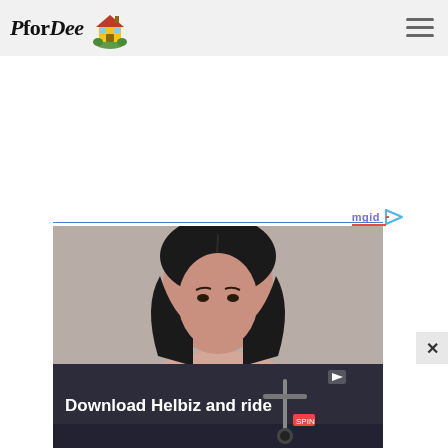[Figure (logo): PforDee logo with house illustration and stylized text]
[Figure (other): Hamburger menu icon (three horizontal lines)]
[Figure (other): White advertisement block area]
[Figure (other): mgid logo with play button and red underline, followed by blue divider line]
[Figure (photo): Portrait photo of a woman with dark hair against neutral beige background]
[Figure (other): Close/X button in bottom right corner]
[Figure (screenshot): Bottom advertisement overlay with dark background showing 'Download Helbiz and ride' text and scooter image]